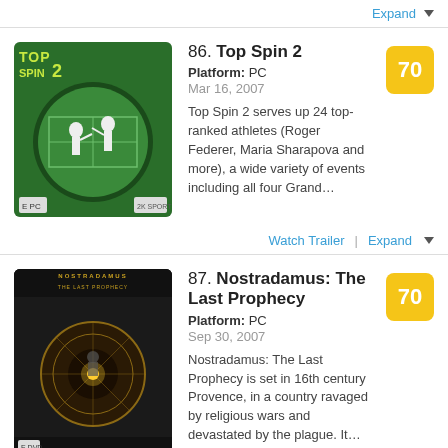Expand ▼
86. Top Spin 2
Platform: PC
Mar 16, 2007
Top Spin 2 serves up 24 top-ranked athletes (Roger Federer, Maria Sharapova and more), a wide variety of events including all four Grand…
Score: 70
Watch Trailer | Expand ▼
87. Nostradamus: The Last Prophecy
Platform: PC
Sep 30, 2007
Nostradamus: The Last Prophecy is set in 16th century Provence, in a country ravaged by religious wars and devastated by the plague. It…
Score: 70
Expand ▼